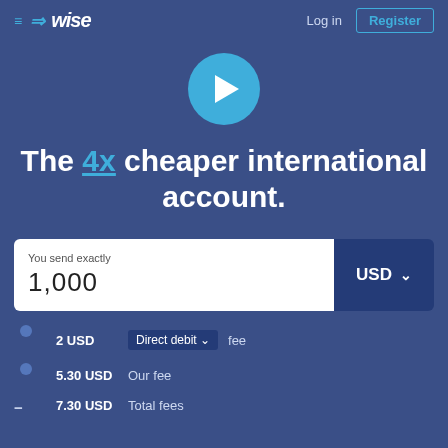≡ ⇒ wise   Log in   Register
[Figure (illustration): Circular play button with white triangle on teal/cyan background]
The 4x cheaper international account.
You send exactly
1,000
USD
2 USD  Direct debit  fee
5.30 USD  Our fee
7.30 USD  Total fees